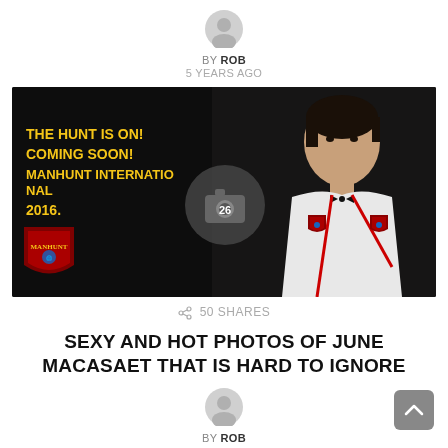BY ROB
5 YEARS AGO
[Figure (photo): Promotional photo for Manhunt International 2016 featuring text 'THE HUNT IS ON! COMING SOON! MANHUNT INTERNATIONAL 2016.' with a man in white tuxedo and Manhunt International branding. Camera icon with '26' overlay visible.]
50 SHARES
SEXY AND HOT PHOTOS OF JUNE MACASAET THAT IS HARD TO IGNORE
BY ROB